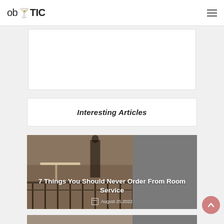ob🍸TIC [hamburger menu]
[Figure (other): Ad banner placeholder, white rectangle with border]
Interesting Articles
[Figure (photo): Article card with hotel room service image on left (balcony/dining scene in brown tones) and gray panel on right, with title overlay '7 Things You Should Never Order From Room Service' and date 'August 25,2022']
[Figure (photo): Partially visible bottom article card, cropped at page bottom]